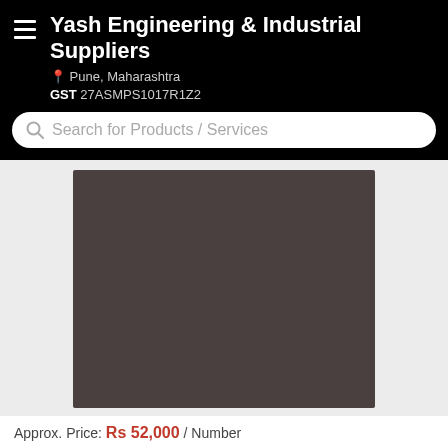Yash Engineering & Industrial Suppliers
Pune, Maharashtra
GST 27ASMPS1017R1Z2
Search for Products / Services
[Figure (photo): Product image placeholder - dark brownish-gray rectangle representing a product photo for an industrial/engineering item sold by Yash Engineering & Industrial Suppliers]
Approx. Price: Rs 52,000 / Number